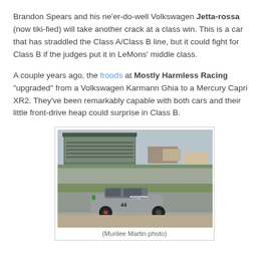Brandon Spears and his ne'er-do-well Volkswagen Jetta-rossa (now tiki-fied) will take another crack at a class win. This is a car that has straddled the Class A/Class B line, but it could fight for Class B if the judges put it in LeMons' middle class.
A couple years ago, the froods at Mostly Harmless Racing "upgraded" from a Volkswagen Karmann Ghia to a Mercury Capri XR2. They've been remarkably capable with both cars and their little front-drive heap could surprise in Class B.
[Figure (photo): A racing car (silver/gray sedan with dark wheels and racing markings, number 44) driving on a race track, with grandstands and other vehicles visible in the background. Photo credit: Murilee Martin.]
(Murilee Martin photo)